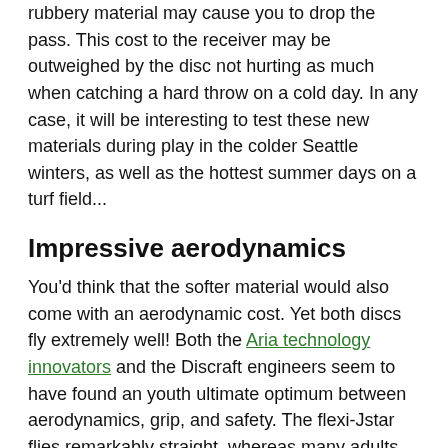rubbery material may cause you to drop the pass. This cost to the receiver may be outweighed by the disc not hurting as much when catching a hard throw on a cold day. In any case, it will be interesting to test these new materials during play in the colder Seattle winters, as well as the hottest summer days on a turf field...
Impressive aerodynamics
You'd think that the softer material would also come with an aerodynamic cost. Yet both discs fly extremely well! Both the Aria technology innovators and the Discraft engineers seem to have found an youth ultimate optimum between aerodynamics, grip, and safety. The flexi-Jstar flies remarkably straight, whereas many adults and youth have noted that the old Jstars tend to fall off as they lose speed, causing curved, less-predictable flights — especially on windy days.  The Aria also flies great; both my son and I were able to throw the Aria and Ultrastar similar distances with similar accuracy.